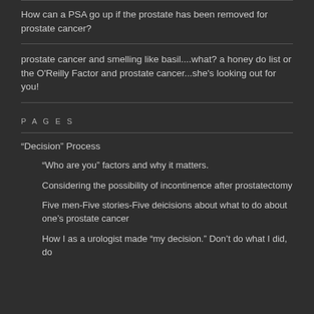How can a PSA go up if the prostate has been removed for prostate cancer?
prostate cancer and smelling like basil....what? a honey do list or the O'Reilly Factor and prostate cancer...she's looking out for you!
PAGES
“Decision” Process
“Who are you” factors and why it matters.
Considering the possibility of incontinence after prostatectomy
Five men-Five stories-Five deicisions about what to do about one’s prostate cancer
How I as a urologist made “my decision.” Don’t do what I did, do